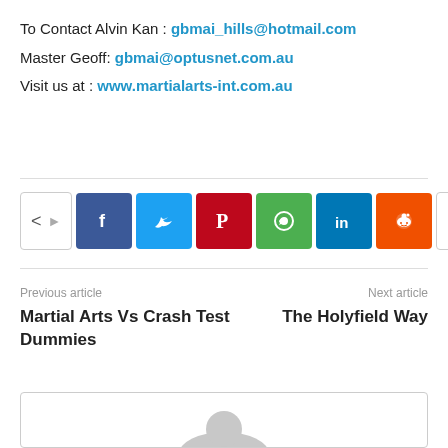To Contact Alvin Kan : gbmai_hills@hotmail.com
Master Geoff: gbmai@optusnet.com.au
Visit us at : www.martialarts-int.com.au
[Figure (infographic): Social sharing buttons row: share toggle, Facebook, Twitter, Pinterest, WhatsApp, LinkedIn, Reddit, more (+)]
Previous article
Martial Arts Vs Crash Test Dummies
Next article
The Holyfield Way
[Figure (illustration): Author avatar placeholder with grey silhouette on white background, inside a bordered box]